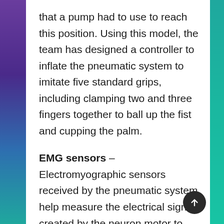that a pump had to use to reach this position. Using this model, the team has designed a controller to inflate the pneumatic system to imitate five standard grips, including clamping two and three fingers together to ball up the fist and cupping the palm.
EMG sensors – Electromyographic sensors received by the pneumatic system help measure the electrical signal created by the neuron motor to operate the muscles. The sensors are connected to the user's limb on the